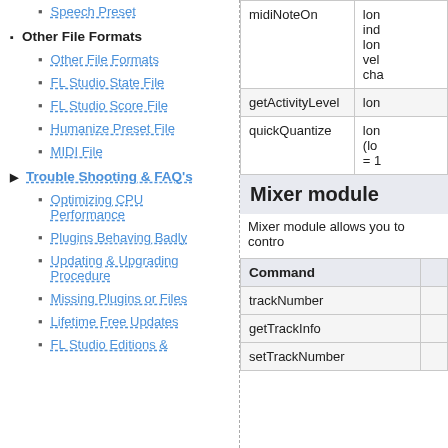Speech Preset
Other File Formats
Other File Formats
FL Studio State File
FL Studio Score File
Humanize Preset File
MIDI File
Trouble Shooting & FAQ's
Optimizing CPU Performance
Plugins Behaving Badly
Updating & Upgrading Procedure
Missing Plugins or Files
Lifetime Free Updates
FL Studio Editions &
| Command |  |
| --- | --- |
| midiNoteOn | lon ind lon vel cha |
| getActivityLevel | lon |
| quickQuantize | lon (lo = 1 |
Mixer module
Mixer module allows you to contro
| Command |  |
| --- | --- |
| trackNumber |  |
| getTrackInfo |  |
| setTrackNumber |  |